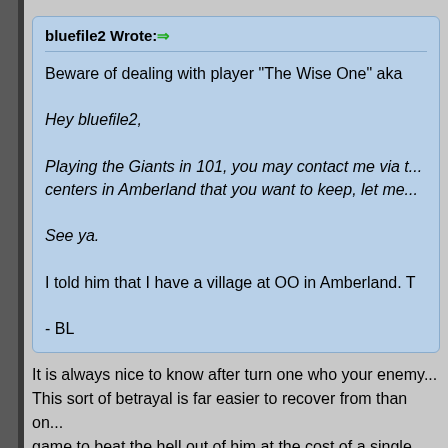bluefile2 Wrote: [arrow]
Beware of dealing with player "The Wise One" aka
Hey bluefile2,

Playing the Giants in 101, you may contact me via t... centers in Amberland that you want to keep, let me...

See ya.

I told him that I have a village at OO in Amberland. T

- BL
It is always nice to know after turn one who your enemy... This sort of betrayal is far easier to recover from than on... game to beat the hell out of him at the cost of a single vi... him in the future..., no content to condition him with...